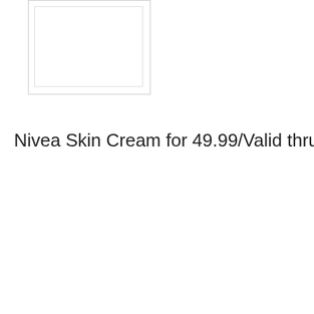[Figure (photo): Empty white image placeholder box with light border at top left]
Nivea Skin Cream for 49.99/Valid thru May 22
[Figure (photo): Image placeholder box with broken image icon at bottom left]